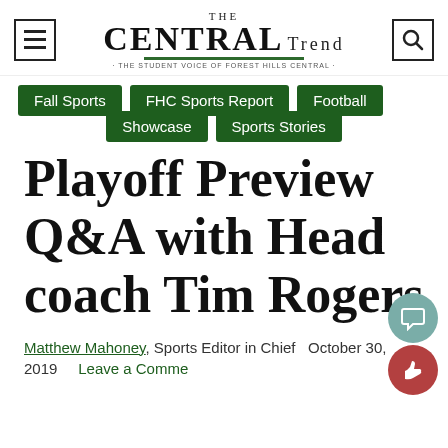THE CENTRAL Trend - THE STUDENT VOICE OF FOREST HILLS CENTRAL
Fall Sports
FHC Sports Report
Football
Showcase
Sports Stories
Playoff Preview Q&A with Head coach Tim Rogers
Matthew Mahoney, Sports Editor in Chief   October 30, 2019   Leave a Comment